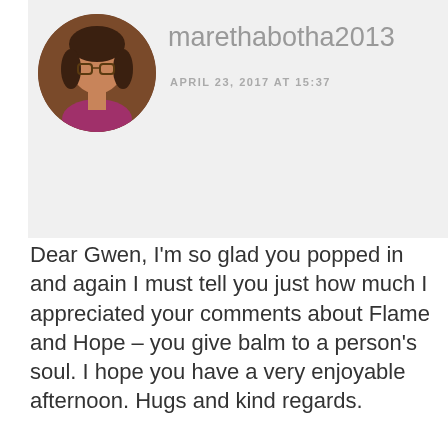[Figure (photo): Circular avatar photo of a woman with glasses and dark hair, brown/purple background]
marethabotha2013
APRIL 23, 2017 AT 15:37
Dear Gwen, I'm so glad you popped in and again I must tell you just how much I appreciated your comments about Flame and Hope – you give balm to a person's soul. I hope you have a very enjoyable afternoon. Hugs and kind regards.
Privacy & Cookies: This site uses cookies. By continuing to use this website, you agree to their use.
To find out more, including how to control cookies, see here: Cookie Policy
Close and accept
[Figure (photo): Partial circular avatar of another commenter at the bottom of the page]